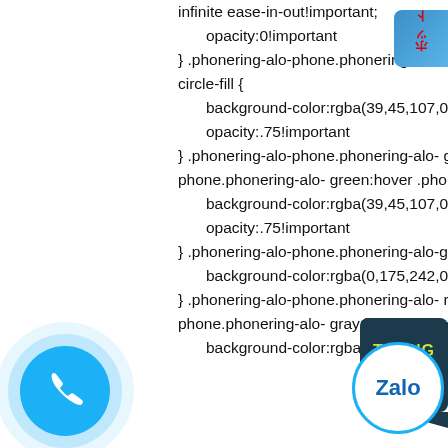infinite ease-in-out!important;
    opacity:0!important
}
.phonering-alo-phone.phonering-alo-hover .phonering-alo-ph-circle-fill,.phonering-alo-phone:hover .phonering-alo-ph-circle-fill {
    background-color:rgba(39,45,107,0.5);
    opacity:.75!important
}
.phonering-alo-phone.phonering-alo-green.phonering-alo-hover .phonering-alo-ph-circle-fill,.phonering-alo-phone.phonering-alo-green:hover .phonering-alo-ph-circle-fill {
    background-color:rgba(39,45,107,0.5);
    opacity:.75!important
}
.phonering-alo-phone.phonering-alo-green .phonering-alo-ph-circle-fill {
    background-color:rgba(0,175,242,0.5);
}
.phonering-alo-phone.phonering-alo-ray.phonering-alo-hover .phonering-alo-ph-circle-fill,.phonering-alo-phone.phonering-alo-gray:hover .phonering-alo-ph-circle-fill {
    background-color:rgba(204,204,204,0.5);
[Figure (other): Blue rounded badge on right side with red bold text reading hot tuc]
[Figure (other): Dark teal speech bubble badge with yellow-green bold text reading TRANG CHU]
[Figure (other): Blue circular phone button with white phone icon and ripple effect]
[Figure (other): Circular Zalo button with blue border and Zalo text]